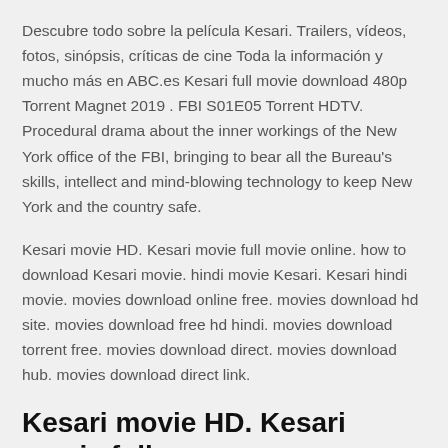Descubre todo sobre la película Kesari. Trailers, vídeos, fotos, sinópsis, críticas de cine Toda la información y mucho más en ABC.es Kesari full movie download 480p Torrent Magnet 2019 . FBI S01E05 Torrent HDTV. Procedural drama about the inner workings of the New York office of the FBI, bringing to bear all the Bureau's skills, intellect and mind-blowing technology to keep New York and the country safe.
Kesari movie HD. Kesari movie full movie online. how to download Kesari movie. hindi movie Kesari. Kesari hindi movie. movies download online free. movies download hd site. movies download free hd hindi. movies download torrent free. movies download direct. movies download hub. movies download direct link.
Kesari movie HD. Kesari movie full